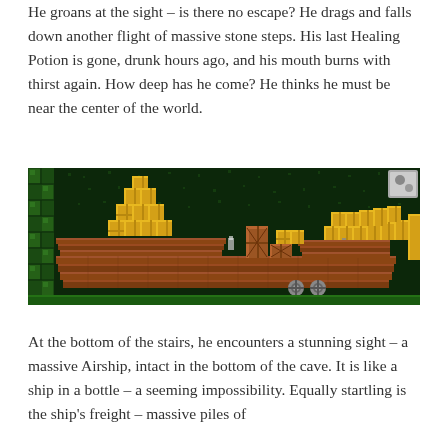He groans at the sight – is there no escape? He drags and falls down another flight of massive stone steps. His last Healing Potion is gone, drunk hours ago, and his mouth burns with thirst again. How deep has he come? He thinks he must be near the center of the world.
[Figure (screenshot): A pixel-art style video game screenshot showing a dark underground cave scene with a large wooden airship structure made of brown planks and yellow blocks/crates. Green blocks line the left wall. The scene has a dark background with the ship platform in the center.]
At the bottom of the stairs, he encounters a stunning sight – a massive Airship, intact in the bottom of the cave. It is like a ship in a bottle – a seeming impossibility. Equally startling is the ship's freight – massive piles of